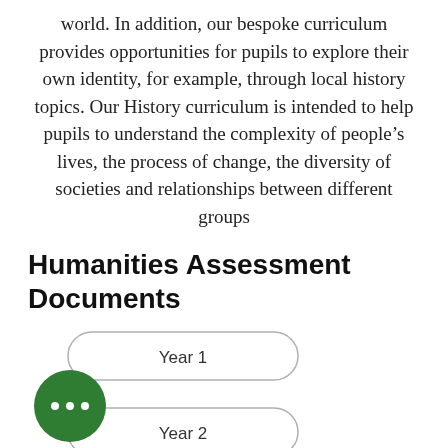world. In addition, our bespoke curriculum provides opportunities for pupils to explore their own identity, for example, through local history topics. Our History curriculum is intended to help pupils to understand the complexity of people's lives, the process of change, the diversity of societies and relationships between different groups
Humanities Assessment Documents
[Figure (infographic): Two rounded rectangle buttons labeled 'Year 1' and 'Year 2' stacked vertically, with a green circle containing three white dots (ellipsis/more options icon) overlapping on the left side.]